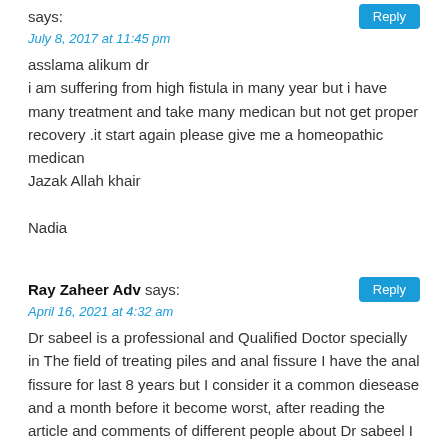says:
July 8, 2017 at 11:45 pm
asslama alikum dr
i am suffering from high fistula in many year but i have many treatment and take many medican but not get proper recovery .it start again please give me a homeopathic medican
Jazak Allah khair

Nadia
Ray Zaheer Adv says:
April 16, 2021 at 4:32 am
Dr sabeel is a professional and Qualified Doctor specially in The field of treating piles and anal fissure I have the anal fissure for last 8 years but I consider it a common diesease and a month before it become worst, after reading the article and comments of different people about Dr sabeel I also contacted Dr sabeel and told him about my condition and after getting medicine of one month Alhumdo Lillah I am better now and still under treatment of Dr sabeel I